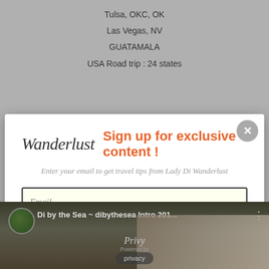Tulsa, OKC, OK
Las Vegas, NV
GUATAMALA
USA Road trip : 24 states
[Figure (screenshot): Modal popup for Wanderlust newsletter sign-up with email input field and Sign Up button, overlaying a travel blog page with video thumbnail of 'Di by the Sea ~ dibythesea Intro 201...' at bottom]
Sign up for exclusive content !
Enter your email to get travel tips from Lady Di Wanderlust
Email
Sign Up!